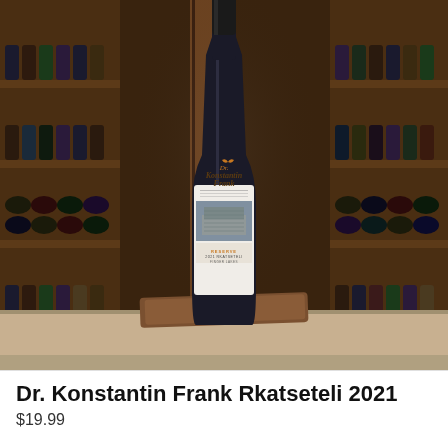[Figure (photo): A wine bottle with Dr. Konstantin Frank Rkatseteli 2021 label, displayed on a wooden board in a wine shop with shelves of bottles in the background.]
Dr. Konstantin Frank Rkatseteli 2021
$19.99